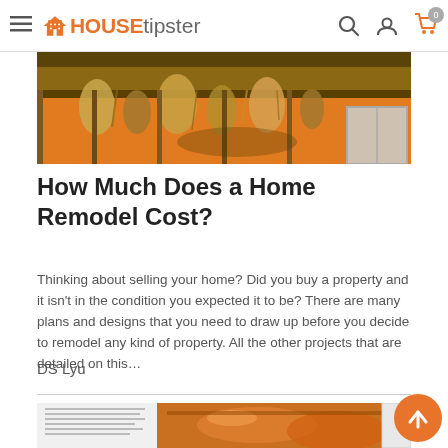HOUSEtipster navigation bar with hamburger menu, logo, search, user, and cart icons
[Figure (photo): Photo of a damaged building exterior showing exposed wood framing and deteriorated insulation/debris hanging from ceiling, with orange/yellow wall and partial view of roof structure]
How Much Does a Home Remodel Cost?
Thinking about selling your home? Did you buy a property and it isn't in the condition you expected it to be? There are many plans and designs that you need to draw up before you decide to remodel any kind of property. All the other projects that are detailed on this…
DS Lyu
[Figure (photo): Partial photo of an open book or magazine and what appears to be food or orange-colored subject matter, partially visible at the bottom of the page]